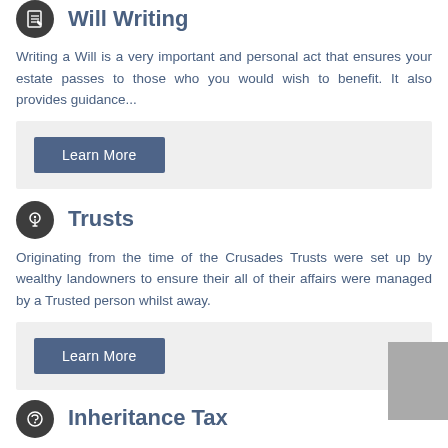Will Writing
Writing a Will is a very important and personal act that ensures your estate passes to those who you would wish to benefit. It also provides guidance...
Learn More
Trusts
Originating from the time of the Crusades Trusts were set up by wealthy landowners to ensure their all of their affairs were managed by a Trusted person whilst away.
Learn More
Inheritance Tax